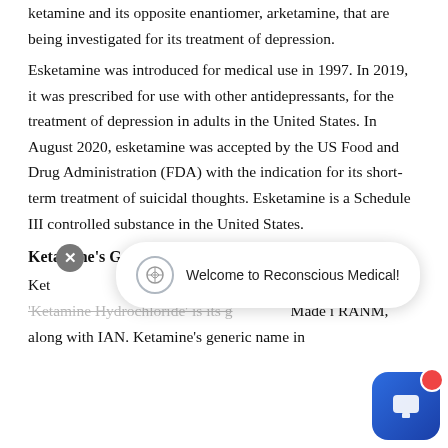ketamine and its opposite enantiomer, arketamine, that are being investigated for its treatment of depression.
Esketamine was introduced for medical use in 1997. In 2019, it was prescribed for use with other antidepressants, for the treatment of depression in adults in the United States. In August 2020, esketamine was accepted by the US Food and Drug Administration (FDA) with the indication for its short-term treatment of suicidal thoughts. Esketamine is a Schedule III controlled substance in the United States.
Ketamine's Generic Trade Names
Ket... [text partially obscured by popup] ...e while 'Ketamine Hydrochloride' is its g... Made i... RANM, along with IAN. Ketamine's generic name in